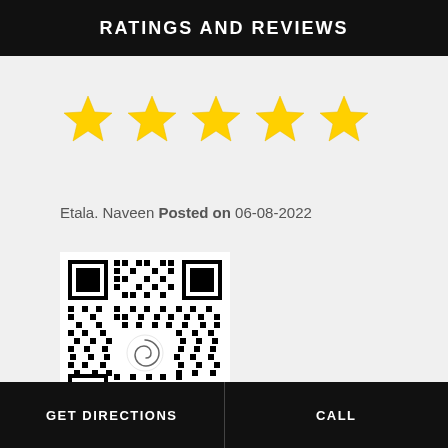RATINGS AND REVIEWS
[Figure (other): Five gold star rating icons]
Etala. Naveen Posted on 06-08-2022
[Figure (other): QR code with swirl logo in center]
GET DIRECTIONS   CALL